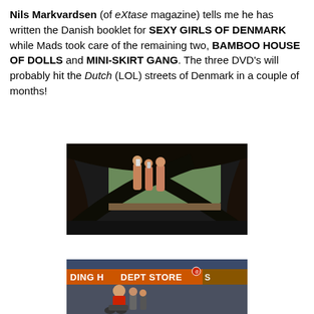Nils Markvardsen (of eXtase magazine) tells me he has written the Danish booklet for SEXY GIRLS OF DENMARK while Mads took care of the remaining two, BAMBOO HOUSE OF DOLLS and MINI-SKIRT GANG. The three DVD's will probably hit the Dutch (LOL) streets of Denmark in a couple of months!
[Figure (photo): Movie still showing figures viewed through a dark arch frame, with people visible in a lit scene in the background]
[Figure (photo): Movie still showing a street scene with a 'DING H DEPT STORE' sign in orange letters and people in the foreground]